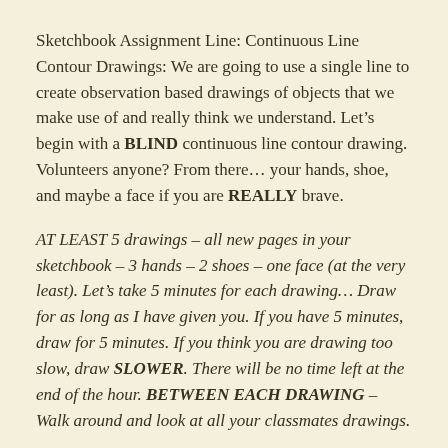Sketchbook Assignment Line: Continuous Line Contour Drawings: We are going to use a single line to create observation based drawings of objects that we make use of and really think we understand. Let's begin with a BLIND continuous line contour drawing. Volunteers anyone? From there... your hands, shoe, and maybe a face if you are REALLY brave.
AT LEAST 5 drawings – all new pages in your sketchbook – 3 hands – 2 shoes – one face (at the very least). Let's take 5 minutes for each drawing... Draw for as long as I have given you. If you have 5 minutes, draw for 5 minutes. If you think you are drawing too slow, draw SLOWER. There will be no time left at the end of the hour. BETWEEN EACH DRAWING – Walk around and look at all your classmates drawings.